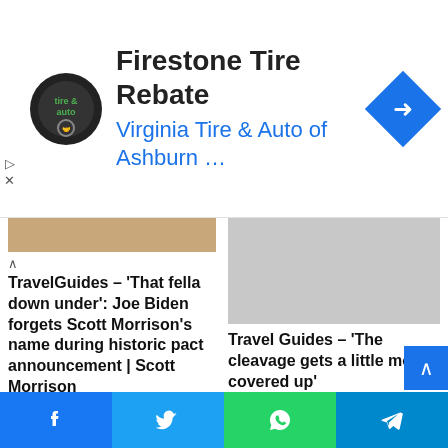[Figure (screenshot): Ad banner: Firestone Tire Rebate - Virginia Tire & Auto of Ashburn logo and text with blue arrow icon]
TravelGuides – 'That fella down under': Joe Biden forgets Scott Morrison's name during historic pact announcement | Scott Morrison
16/09/2021
[Figure (photo): Gray placeholder image for Travel Guides article]
Travel Guides – 'The cleavage gets a little more covered up'
12/11/2021
[Figure (photo): Gray placeholder image bottom left]
[Figure (photo): Gray placeholder image bottom right]
[Figure (screenshot): Social share bar with Facebook, Twitter, WhatsApp, Telegram buttons]